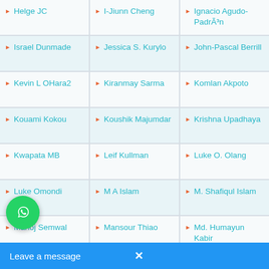Helge JC
I-Jiunn Cheng
Ignacio Agudo-PadrÃ³n
Israel Dunmade
Jessica S. Kurylo
John-Pascal Berrill
Kevin L OHara2
Kiranmay Sarma
Komlan Akpoto
Kouami Kokou
Koushik Majumdar
Krishna Upadhaya
Kwapata MB
Leif Kullman
Luke O. Olang
Luke Omondi Olang
M A Islam
M. Shafiqul Islam
Manoj Semwal
Mansour Thiao
Md. Humayun Kabir
riz Baltaevich v
Mohamed Latif Khan
Mohnish Kapoor
Murali Pai
Muriithi Z